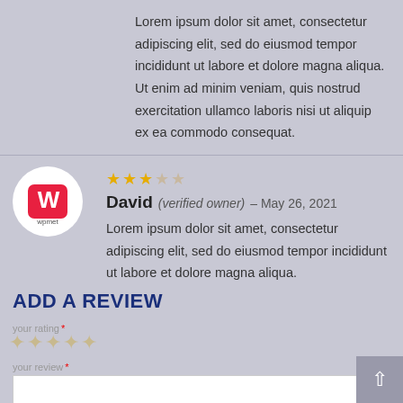Lorem ipsum dolor sit amet, consectetur adipiscing elit, sed do eiusmod tempor incididunt ut labore et dolore magna aliqua. Ut enim ad minim veniam, quis nostrud exercitation ullamco laboris nisi ut aliquip ex ea commodo consequat.
[Figure (infographic): wpmet logo in circular avatar]
David (verified owner) – May 26, 2021
Lorem ipsum dolor sit amet, consectetur adipiscing elit, sed do eiusmod tempor incididunt ut labore et dolore magna aliqua.
ADD A REVIEW
Your rating *
Your review *